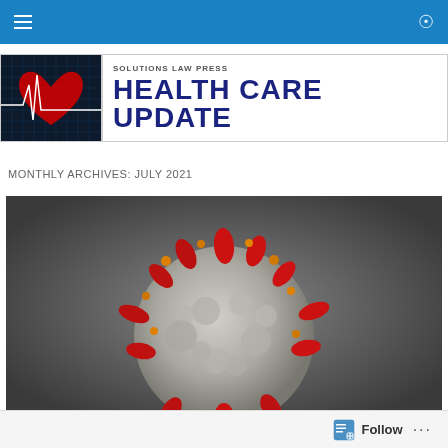Navigation bar with hamburger menu and search icon
[Figure (logo): Solutions Law Press Health Care Update banner with red heart/ECG graphic on left and title text on right]
MONTHLY ARCHIVES: JULY 2021
[Figure (photo): Close-up photograph of a coronavirus (COVID-19) particle showing red spike proteins on a grey spherical surface against a dark background]
Follow button with icon and ellipsis menu